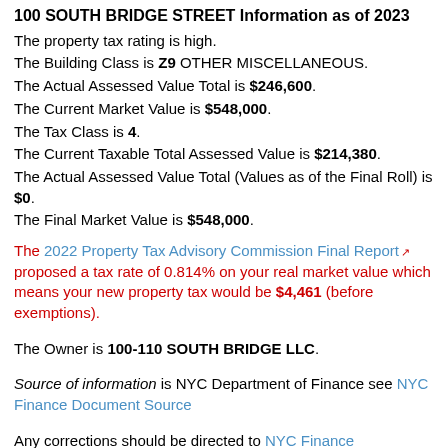100 SOUTH BRIDGE STREET Information as of 2023
The property tax rating is high. The Building Class is Z9 OTHER MISCELLANEOUS. The Actual Assessed Value Total is $246,600. The Current Market Value is $548,000. The Tax Class is 4. The Current Taxable Total Assessed Value is $214,380. The Actual Assessed Value Total (Values as of the Final Roll) is $0. The Final Market Value is $548,000.
The 2022 Property Tax Advisory Commission Final Report proposed a tax rate of 0.814% on your real market value which means your new property tax would be $4,461 (before exemptions).
The Owner is 100-110 SOUTH BRIDGE LLC. Source of information is NYC Department of Finance see NYC Finance Document Source Any corrections should be directed to NYC Finance The highest borrower is 100...